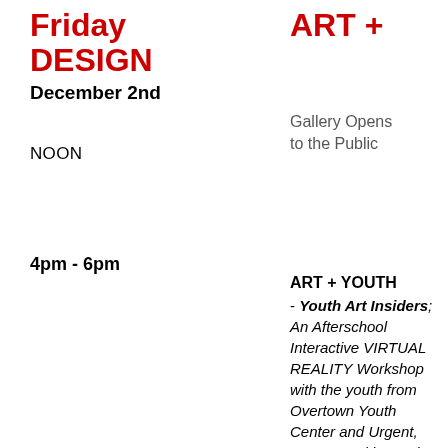Friday DESIGN ART +
December 2nd
NOON
Gallery Opens to the Public
4pm - 6pm
ART + YOUTH - Youth Art Insiders; An Afterschool Interactive VIRTUAL REALITY Workshop with the youth from Overtown Youth Center and Urgent, Inc. powerd by Code Fever. More...